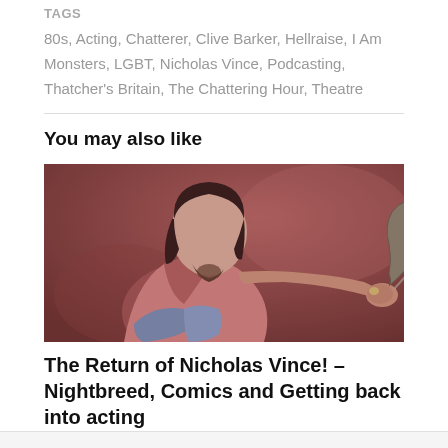TAGS
80s, Acting, Chatterer, Clive Barker, Hellraise, I Am Monsters, LGBT, Nicholas Vince, Podcasting, Thatcher's Britain, The Chattering Hour, Theatre
[Figure (photo): A person in a hooded vest reaching forward holding a curved blade or hook, seated against a reddish-brown background.]
The Return of Nicholas Vince! – Nightbreed, Comics and Getting back into acting